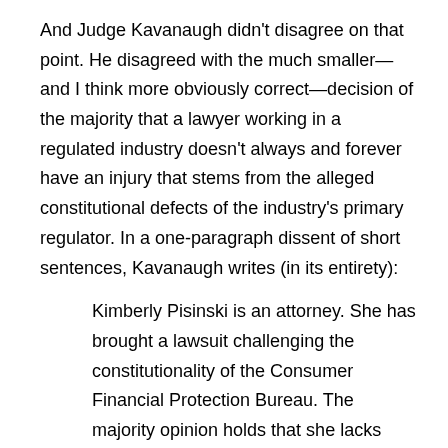And Judge Kavanaugh didn't disagree on that point. He disagreed with the much smaller—and I think more obviously correct—decision of the majority that a lawyer working in a regulated industry doesn't always and forever have an injury that stems from the alleged constitutional defects of the industry's primary regulator. In a one-paragraph dissent of short sentences, Kavanaugh writes (in its entirety):
Kimberly Pisinski is an attorney. She has brought a lawsuit challenging the constitutionality of the Consumer Financial Protection Bureau. The majority opinion holds that she lacks standing. I respectfully disagree. In my view, Pisinski has standing. She contracts with a company known as Morgan Drexen and works together with Morgan Drexen employees